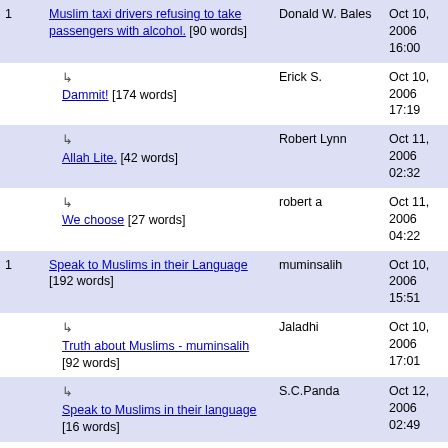| # | Title | Author | Date |
| --- | --- | --- | --- |
| 1 | Muslim taxi drivers refusing to take passengers with alcohol. [90 words] | Donald W. Bales | Oct 10, 2006 16:00 |
|  | ↳ Dammit! [174 words] | Erick S. | Oct 10, 2006 17:19 |
|  | ↳ Allah Lite. [42 words] | Robert Lynn | Oct 11, 2006 02:32 |
|  | ↳ We choose [27 words] | robert a | Oct 11, 2006 04:22 |
| 1 | Speak to Muslims in their Language [192 words] | muminsalih | Oct 10, 2006 15:51 |
|  | ↳ Truth about Muslims - muminsalih [92 words] | Jaladhi | Oct 10, 2006 17:01 |
|  | ↳ Speak to Muslims in their language [16 words] | S.C.Panda | Oct 12, 2006 02:49 |
| 1 | Oh well [55 words] | Danish/American | Oct 10, 2006 15:44 |